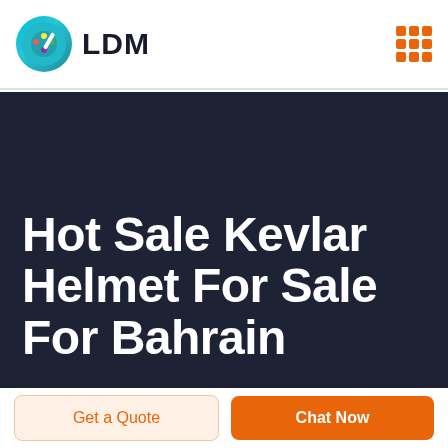LDM
Hot Sale Kevlar Helmet For Sale For Bahrain
Get a Quote
Chat Now